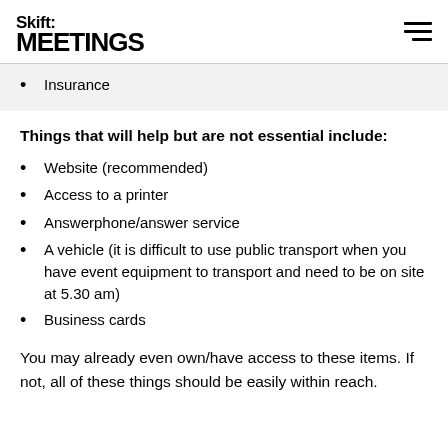Skift MEETINGS
Insurance
Things that will help but are not essential include:
Website (recommended)
Access to a printer
Answerphone/answer service
A vehicle (it is difficult to use public transport when you have event equipment to transport and need to be on site at 5.30 am)
Business cards
You may already even own/have access to these items. If not, all of these things should be easily within reach.